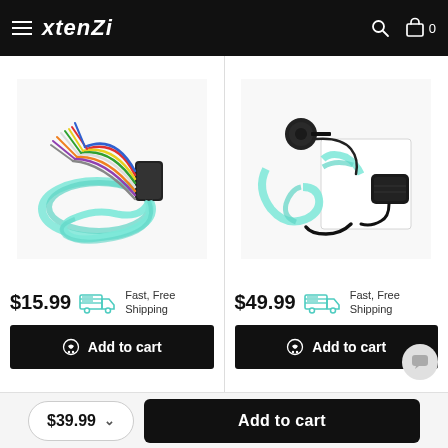xtenzi - navigation menu with search and cart icons, cart count: 0
[Figure (photo): Wire harness product image showing multicolored wires with a black connector and teal/mint colored cables]
$15.99  Fast, Free Shipping
Add to cart
[Figure (photo): Car audio accessory kit product image showing teal wire harness, microphone, and steering wheel control adapter with packaging]
$49.99  Fast, Free Shipping
Add to cart
$39.99  Add to cart